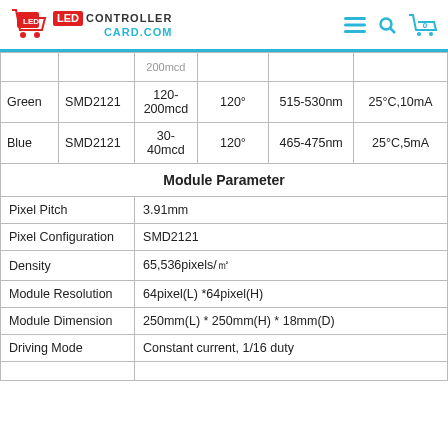LED CONTROLLER CARD.COM
| Color | LED Type | Luminous Intensity | View Angle | Wave Length | Test Condition |
| --- | --- | --- | --- | --- | --- |
| Green | SMD2121 | 120-200mcd | 120° | 515-530nm | 25°C,10mA |
| Blue | SMD2121 | 30-40mcd | 120° | 465-475nm | 25°C,5mA |
| Module Parameter |  |  |  |  |  |
| Pixel Pitch |  | 3.91mm |  |  |  |
| Pixel Configuration |  | SMD2121 |  |  |  |
| Density |  | 65,536pixels/㎡ |  |  |  |
| Module Resolution |  | 64pixel(L) *64pixel(H) |  |  |  |
| Module Dimension |  | 250mm(L) * 250mm(H) * 18mm(D) |  |  |  |
| Driving Mode |  | Constant current, 1/16 duty |  |  |  |